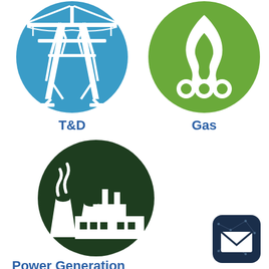[Figure (illustration): T&D icon: blue circle with white electric transmission tower/pylon silhouette]
T&D
[Figure (illustration): Gas icon: green circle with white flame and three circles (burner) silhouette]
Gas
[Figure (illustration): Power Generation icon: dark green circle with white industrial power plant/factory with smokestacks silhouette]
Power Generation
[Figure (illustration): Email/contact icon: dark navy rounded square with envelope and constellation/network pattern overlay]